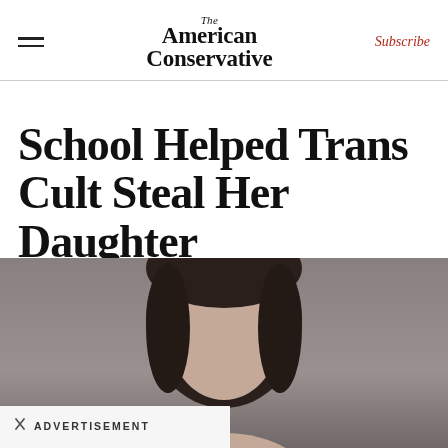The American Conservative | Subscribe
School Helped Trans Cult Steal Her Daughter
Exasperated mother doesn't know where to turn for help
[Figure (photo): Close-up photo of a woman with dark straight hair against a grey background. Lower portion of frame shows an advertisement bar with X close button and text 'ADVERTISEMENT'.]